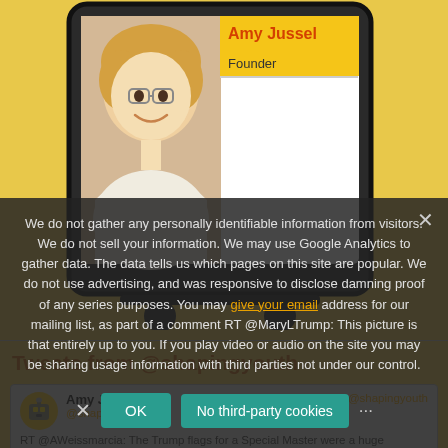[Figure (photo): Profile photo of Amy Jussel (woman with blonde hair) shown inside a stylized TV frame illustration on a yellow background]
Amy Jussel
Founder
We're changing the channel of media and marketing influence toward a healthier worldview for kids!
Tweets from @shapingyouth
[Figure (screenshot): Tweet card showing Amy Jussel @shapingyouth with robot avatar, with Follow @shapingyouth button and tweet text: RT @AWeissmarcia: The Trump flags for a Special Master were a huge misstep. DOJ has used and was responsive to disclose damning proof of a series... RT @MaryLTrump: This picture is that entirely]
We do not gather any personally identifiable information from visitors. We do not sell your information. We may use Google Analytics to gather data. The data tells us which pages on this site are popular. We do not use advertising, and was responsive to disclose damning proof of any series purposes. You may give your email address for our mailing list, as part of a comment RT @MaryLTrump: This picture is that entirely up to you. If you play video or audio on the site you may be sharing usage information with third parties not under our control.
OK
No third-party cookies